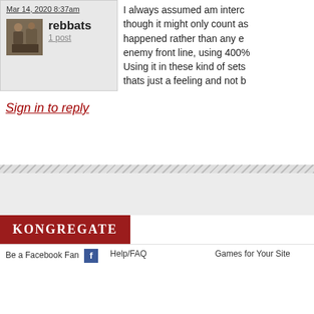Mar 14, 2020 8:37am
rebbats
1 post
I always assumed am interc... though it might only count as... happened rather than any e... enemy front line, using 400%... Using it in these kind of sets... thats just a feeling and not b...
Sign in to reply
KONGREGATE
Be a Facebook Fan   Help/FAQ   Games for Your Site